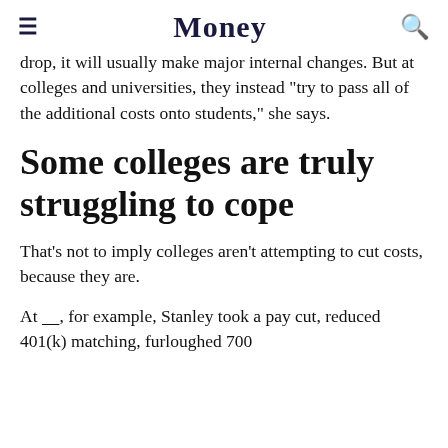Money
drop, it will usually make major internal changes. But at colleges and universities, they instead "try to pass all of the additional costs onto students," she says.
Some colleges are truly struggling to cope
That's not to imply colleges aren't attempting to cut costs, because they are.
At ——, for example, Stanley took a pay cut, reduced 401(k) matching, furloughed 700